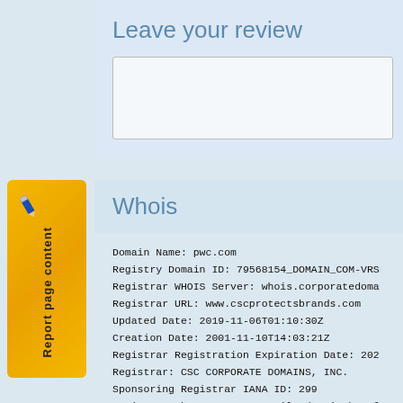Leave your review
Whois
Domain Name: pwc.com
Registry Domain ID: 79568154_DOMAIN_COM-VRS
Registrar WHOIS Server: whois.corporatedoma
Registrar URL: www.cscprotectsbrands.com
Updated Date: 2019-11-06T01:10:30Z
Creation Date: 2001-11-10T14:03:21Z
Registrar Registration Expiration Date: 202
Registrar: CSC CORPORATE DOMAINS, INC.
Sponsoring Registrar IANA ID: 299
Registrar Abuse Contact Email: domainabuse@
Registrar Abuse Contact Phone: +1.8887802728